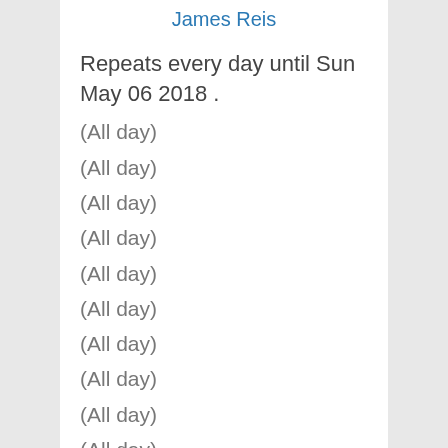James Reis
Repeats every day until Sun May 06 2018 .
(All day)
(All day)
(All day)
(All day)
(All day)
(All day)
(All day)
(All day)
(All day)
(All day)
(All day)